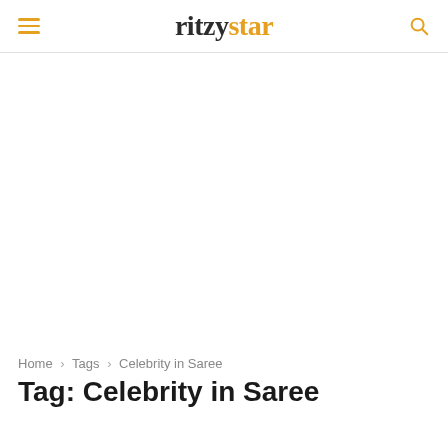ritzystar
Tag: Celebrity in Saree
Home › Tags › Celebrity in Saree